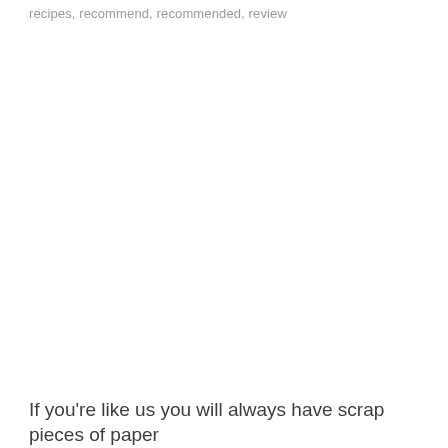recipes, recommend, recommended, review
If you're like us you will always have scrap pieces of paper